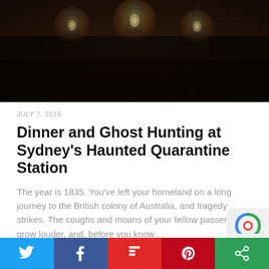[Figure (photo): Three glowing oil lanterns on a dark ground against a brick wall background, dimly lit night scene]
JULY 7, 2015
Dinner and Ghost Hunting at Sydney's Haunted Quarantine Station
The year is 1835. You've left your homeland on a long journey to the British colony of Australia, and tragedy strikes. The coughs and moans of your fellow passengers grow louder, and, before you know...